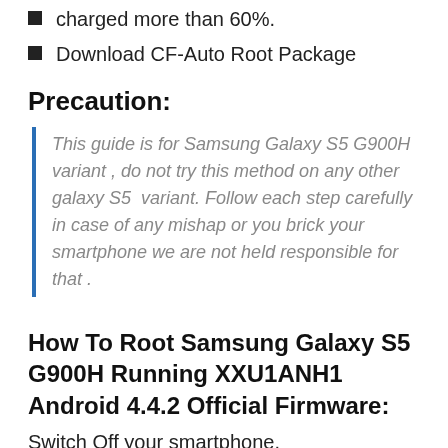charged more than 60%.
Download CF-Auto Root Package
Precaution:
This guide is for Samsung Galaxy S5 G900H variant , do not try this method on any other galaxy S5  variant. Follow each step carefully in case of any mishap or you brick your smartphone we are not held responsible for that .
How To Root Samsung Galaxy S5 G900H Running XXU1ANH1 Android 4.4.2 Official Firmware:
Switch Off your smartphone.